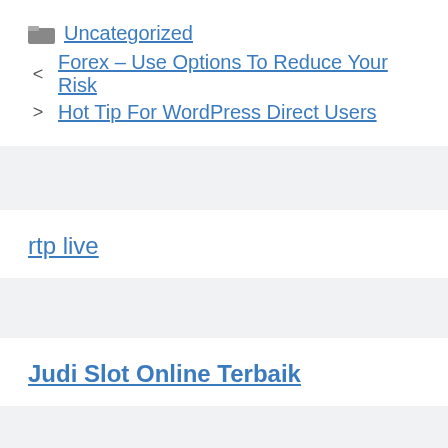Uncategorized
Forex – Use Options To Reduce Your Risk
Hot Tip For WordPress Direct Users
rtp live
Judi Slot Online Terbaik
judi online